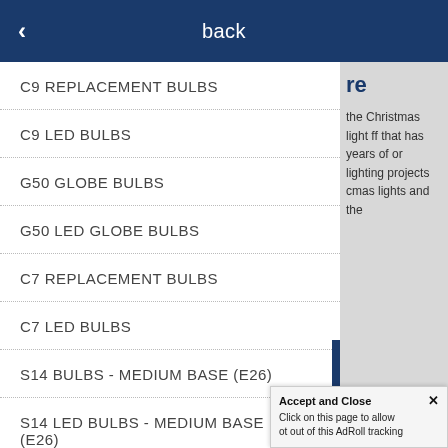back
C9 REPLACEMENT BULBS
C9 LED BULBS
G50 GLOBE BULBS
G50 LED GLOBE BULBS
C7 REPLACEMENT BULBS
C7 LED BULBS
S14 BULBS - MEDIUM BASE (E26)
S14 LED BULBS - MEDIUM BASE (E26)
re
the Christmas light ff that has years of or lighting projects cmas lights and the
Accept and Close ×
Click on this page to allow ot out of this AdRoll tracking